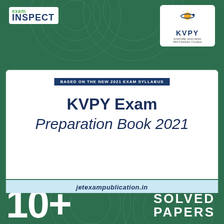[Figure (illustration): Book cover for KVPY Exam Preparation Book 2021. Green background with fingerprint swirl patterns. Top-left shows 'exam INSPECT' logo in white box. Top-right shows KVPY logo with orange sun and planet icon. Center white area has dark blue banner reading 'BASED ON THE NEW 2021 EXAM SYLLABUS', main title 'KVPY Exam Preparation Book 2021', and light blue URL band with 'jetexampublication.in'. Bottom green band shows '10+' in large white text and 'SOLVED PAPERS' on the right.]